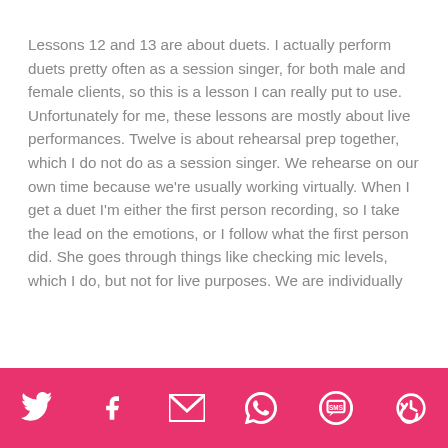Lessons 12 and 13 are about duets. I actually perform duets pretty often as a session singer, for both male and female clients, so this is a lesson I can really put to use. Unfortunately for me, these lessons are mostly about live performances. Twelve is about rehearsal prep together, which I do not do as a session singer. We rehearse on our own time because we're usually working virtually. When I get a duet I'm either the first person recording, so I take the lead on the emotions, or I follow what the first person did. She goes through things like checking mic levels, which I do, but not for live purposes. We are individually
Social share icons: Twitter, Facebook, Email, WhatsApp, SMS, Share